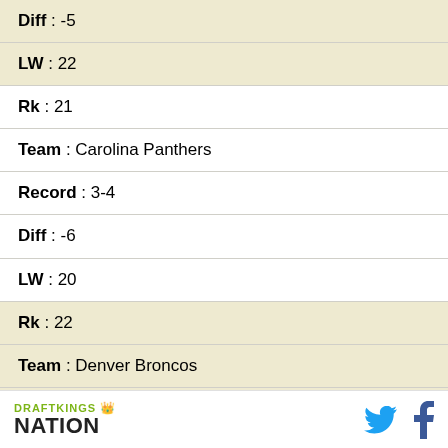Diff : -5
LW : 22
Rk : 21
Team : Carolina Panthers
Record : 3-4
Diff : -6
LW : 20
Rk : 22
Team : Denver Broncos
Record : 2-4
DRAFTKINGS NATION